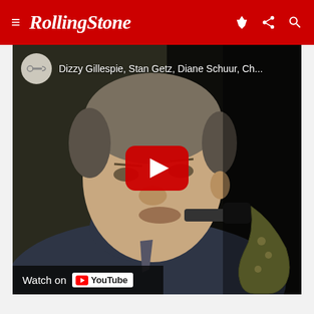Rolling Stone
[Figure (screenshot): YouTube video embed showing a jazz musician playing saxophone, with the video title 'Dizzy Gillespie, Stan Getz, Diane Schuur, Ch...' and a YouTube play button overlay. A 'Watch on YouTube' bar appears at the bottom left of the video.]